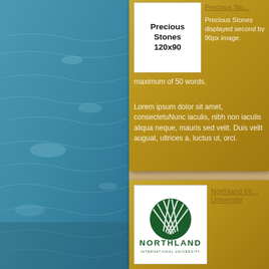[Figure (photo): Blue water surface with ripple patterns, decorative left panel background]
[Figure (other): Precious Stones placeholder box showing text 'Precious Stones 120x90']
Precious Sto...
Precious Stones displayed second by 90px image. maximum of 50 words.
Lorem ipsum dolor sit amet, consectetuNunc iaculis, nibh non iaculis aliqua neque, mauris sed velit. Duis velit auguat, ultrices a, luctus ut, orci.
[Figure (logo): Northland International University logo — dark green circle with radiating lines above text NORTHLAND INTERNATIONAL UNIVERSITY]
Northland Int... University